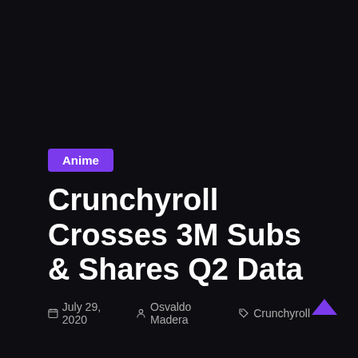Anime
[Figure (illustration): Dark background image area covering the upper portion of the page]
Anime
Crunchyroll Crosses 3M Subs & Shares Q2 Data
July 29, 2020  Osvaldo Madera  Crunchyroll